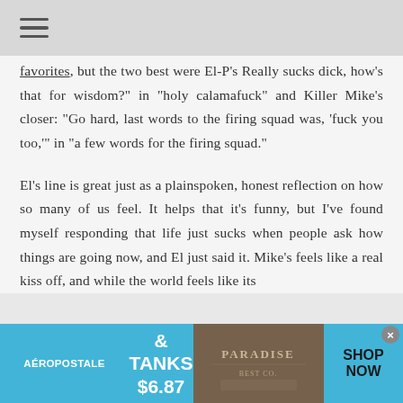≡ (hamburger menu icon)
favorites, but the two best were El-P's Really sucks dick, how's that for wisdom?" in "holy calamafuck" and Killer Mike's closer: "Go hard, last words to the firing squad was, 'fuck you too,'" in "a few words for the firing squad."
El's line is great just as a plainspoken, honest reflection on how so many of us feel. It helps that it's funny, but I've found myself responding that life just sucks when people ask how things are going now, and El just said it. Mike's feels like a real kiss off, and while the world feels like its
[Figure (infographic): Aeropostale advertisement banner: AÉROPOSTALE | TEES & TANKS $6.87 & UP | image of clothing/paradise theme | SHOP NOW, with close (x) button]